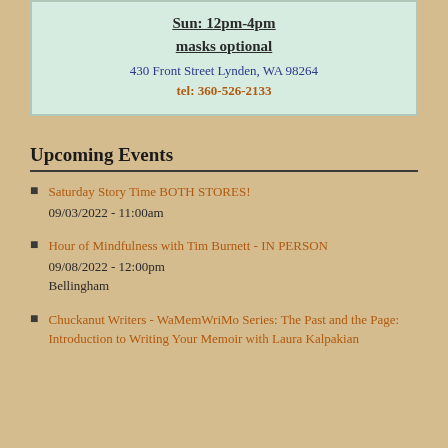Sun: 12pm-4pm
masks optional
430 Front Street Lynden, WA 98264
tel: 360-526-2133
Upcoming Events
Saturday Story Time BOTH STORES!
09/03/2022 - 11:00am
Hour of Mindfulness with Tim Burnett - IN PERSON
09/08/2022 - 12:00pm
Bellingham
Chuckanut Writers - WaMemWriMo Series: The Past and the Page: Introduction to Writing Your Memoir with Laura Kalpakian